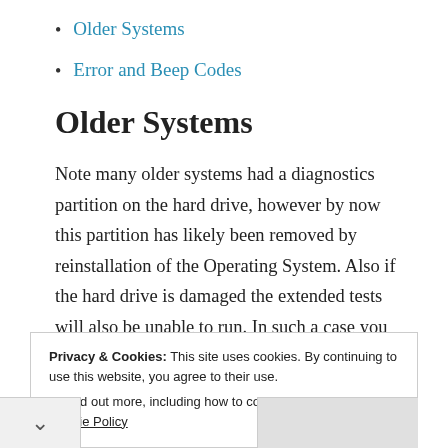Older Systems
Error and Beep Codes
Older Systems
Note many older systems had a diagnostics partition on the hard drive, however by now this partition has likely been removed by reinstallation of the Operating System. Also if the hard drive is damaged the extended tests will also be unable to run. In such a case you will get an error message saying the system can't boot to the
Privacy & Cookies: This site uses cookies. By continuing to use this website, you agree to their use.
To find out more, including how to control cookies, see here: Cookie Policy